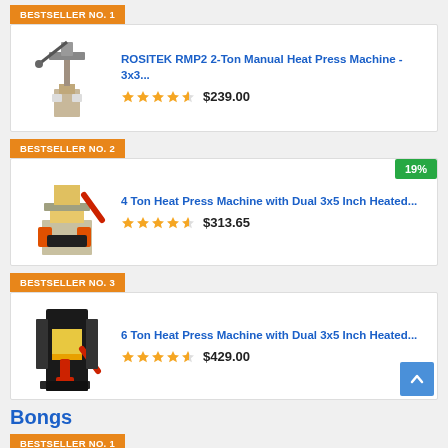BESTSELLER NO. 1
[Figure (photo): ROSITEK RMP2 2-Ton Manual Heat Press Machine product photo]
ROSITEK RMP2 2-Ton Manual Heat Press Machine - 3x3... ★★★★½ $239.00
BESTSELLER NO. 2
[Figure (photo): 4 Ton Heat Press Machine with Dual 3x5 Inch Heated product photo]
4 Ton Heat Press Machine with Dual 3x5 Inch Heated... ★★★★½ $313.65
BESTSELLER NO. 3
[Figure (photo): 6 Ton Heat Press Machine with Dual 3x5 Inch Heated product photo]
6 Ton Heat Press Machine with Dual 3x5 Inch Heated... ★★★★½ $429.00
Bongs
BESTSELLER NO. 1